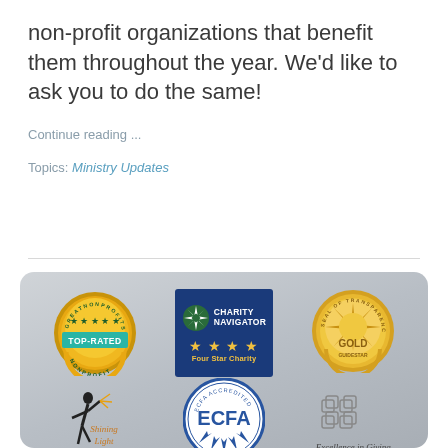non-profit organizations that benefit them throughout the year. We'd like to ask you to do the same!
Continue reading ...
Topics: Ministry Updates
[Figure (logo): A collage of nonprofit certification badges including GreatNonprofits Top-Rated Nonprofit, Charity Navigator Four Star Charity, Seal of Transparency Gold (GuideStar), Shining Light, ECFA, and Excellence in Giving logos on a grey gradient background.]